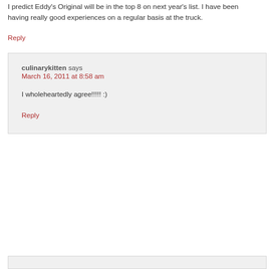I predict Eddy's Original will be in the top 8 on next year's list. I have been having really good experiences on a regular basis at the truck.
Reply
culinarykitten says
March 16, 2011 at 8:58 am
I wholeheartedly agree!!!!! :)
Reply